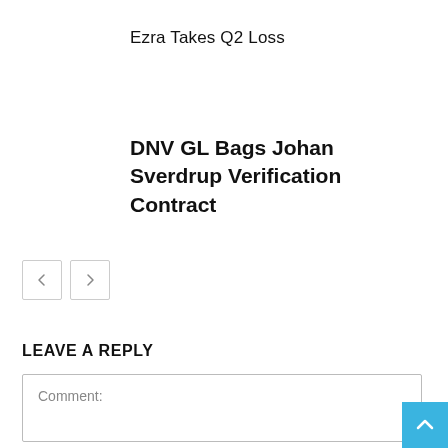Ezra Takes Q2 Loss
DNV GL Bags Johan Sverdrup Verification Contract
LEAVE A REPLY
Comment: